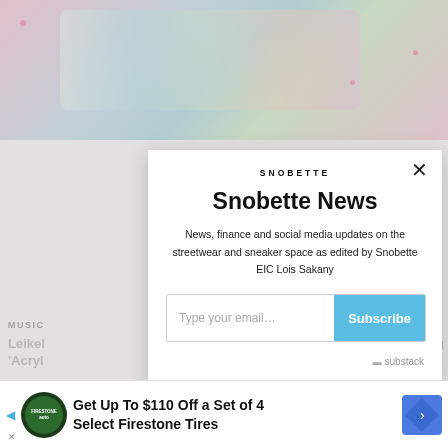[Figure (screenshot): Background showing nail art photo with colorful decorated nails on pink background, and partially visible article about music with title containing 'Leikel' and 'Acryl']
[Figure (other): Snobette newsletter subscription modal popup with logo, title 'Snobette News', description text, email input field, Subscribe button, and Substack branding]
[Figure (other): Advertisement banner at bottom: 'Get Up To $110 Off a Set of 4 Select Firestone Tires' with Firestone auto logo and navigation arrow icon]